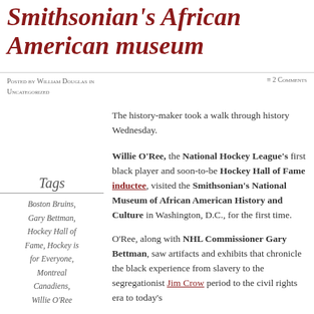Smithsonian's African American museum
Posted by William Douglas in Uncategorized  ≡ 2 Comments
The history-maker took a walk through history Wednesday.
Tags
Boston Bruins, Gary Bettman, Hockey Hall of Fame, Hockey is for Everyone, Montreal Canadiens, Willie O'Ree
Willie O'Ree, the National Hockey League's first black player and soon-to-be Hockey Hall of Fame inductee, visited the Smithsonian's National Museum of African American History and Culture in Washington, D.C., for the first time.
O'Ree, along with NHL Commissioner Gary Bettman, saw artifacts and exhibits that chronicle the black experience from slavery to the segregationist Jim Crow period to the civil rights era to today's